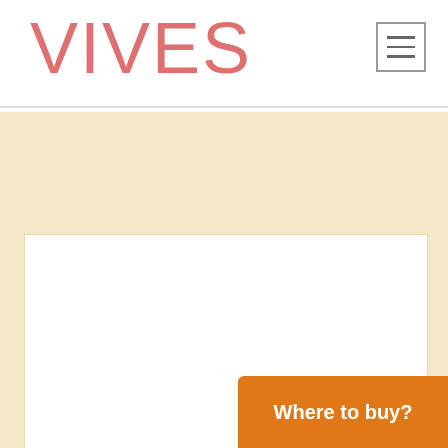VIVES
[Figure (logo): VIVES brand logo in pink/salmon color on white header background]
[Figure (photo): Product tile image area - white tile sample displayed with warm beige border/frame background. Cestio Multicolor tile product.]
Cestio Multico
20x20 cm (7.9x7
Where to buy?